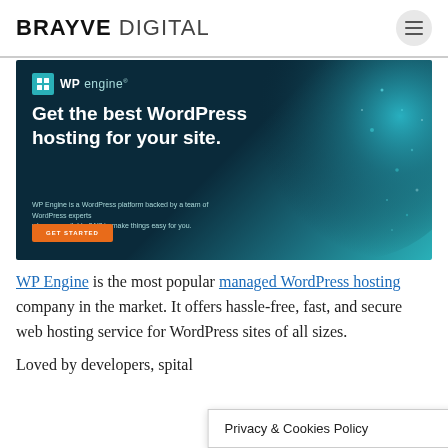BRAYVE DIGITAL
[Figure (screenshot): WP Engine advertisement banner with dark teal background. Shows WP Engine logo top-left, headline 'Get the best WordPress hosting for your site.', subtext about WP Engine being a WordPress platform, and an orange GET STARTED button.]
WP Engine is the most popular managed WordPress hosting company in the market. It offers hassle-free, fast, and secure web hosting service for WordPress sites of all sizes.
Loved by developers, s... pital from WP Engine...
Privacy & Cookies Policy